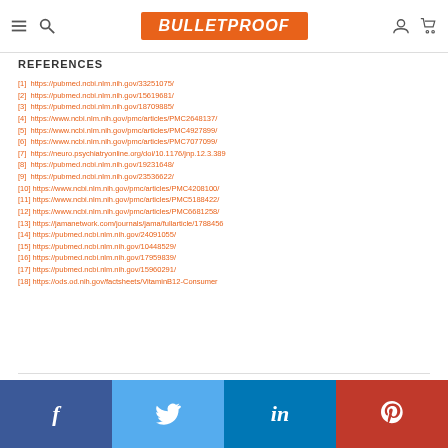BULLETPROOF
REFERENCES
[1] https://pubmed.ncbi.nlm.nih.gov/33251075/
[2] https://pubmed.ncbi.nlm.nih.gov/15619681/
[3] https://pubmed.ncbi.nlm.nih.gov/18709885/
[4] https://www.ncbi.nlm.nih.gov/pmc/articles/PMC2648137/
[5] https://www.ncbi.nlm.nih.gov/pmc/articles/PMC4927899/
[6] https://www.ncbi.nlm.nih.gov/pmc/articles/PMC7077099/
[7] https://neuro.psychiatryonline.org/doi/10.1176/jnp.12.3.389
[8] https://pubmed.ncbi.nlm.nih.gov/19231648/
[9] https://pubmed.ncbi.nlm.nih.gov/23536622/
[10] https://www.ncbi.nlm.nih.gov/pmc/articles/PMC4208100/
[11] https://www.ncbi.nlm.nih.gov/pmc/articles/PMC5188422/
[12] https://www.ncbi.nlm.nih.gov/pmc/articles/PMC6681258/
[13] https://jamanetwork.com/journals/jama/fullarticle/1788456
[14] https://pubmed.ncbi.nlm.nih.gov/24091055/
[15] https://pubmed.ncbi.nlm.nih.gov/10448529/
[16] https://pubmed.ncbi.nlm.nih.gov/17959839/
[17] https://pubmed.ncbi.nlm.nih.gov/15960291/
[18] https://ods.od.nih.gov/factsheets/VitaminB12-Consumer
Facebook Twitter LinkedIn Pinterest